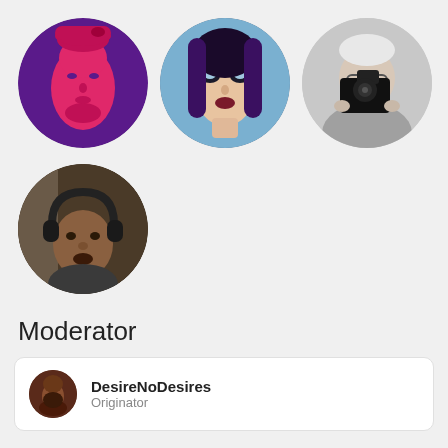[Figure (photo): Three circular profile photo avatars in a row: left is a purple and pink stylized face illustration (Che Guevara-style art), center is a close-up selfie of a woman with heavy eye makeup and braided hair, right is a black and white photo of an older man holding a camera.]
[Figure (photo): One circular profile photo avatar: a young man wearing headphones in a dimly lit room.]
Moderator
| DesireNoDesires | Originator |